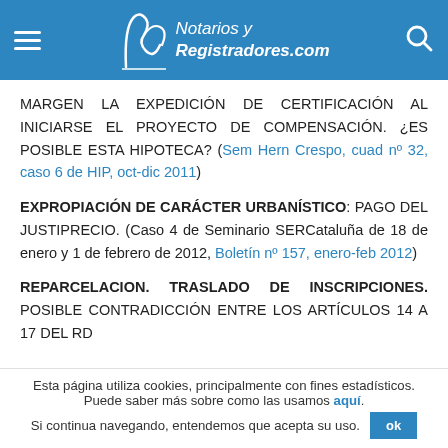Notarios y Registradores.com
MARGEN LA EXPEDICIÓN DE CERTIFICACIÓN AL INICIARSE EL PROYECTO DE COMPENSACIÓN. ¿ES POSIBLE ESTA HIPOTECA? (Sem Hern Crespo, cuad nº 32, caso 6 de HIP, oct-dic 2011)
EXPROPIACIÓN DE CARÁCTER URBANÍSTICO: PAGO DEL JUSTIPRECIO. (Caso 4 de Seminario SERCataluña de 18 de enero y 1 de febrero de 2012, Boletín nº 157, enero-feb 2012)
REPARCELACION. TRASLADO DE INSCRIPCIONES. POSIBLE CONTRADICCIÓN ENTRE LOS ARTÍCULOS 14 A 17 DEL RD
Esta página utiliza cookies, principalmente con fines estadísticos. Puede saber más sobre como las usamos aquí. Si continua navegando, entendemos que acepta su uso.